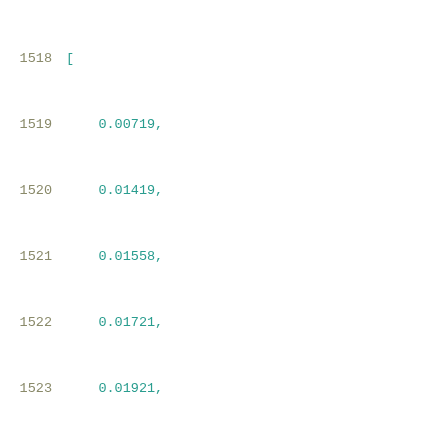1518    [
1519        0.00719,
1520        0.01419,
1521        0.01558,
1522        0.01721,
1523        0.01921,
1524        0.02159,
1525        0.02443,
1526        0.02778,
1527        0.03185,
1528        0.03672,
1529        0.04256,
1530        0.04977,
1531        0.05813,
1532        0.06824,
1533        0.08032,
1534        0.09501,
1535        0.11252,
1536        0.13374,
1537        0.15907
1538    ],
1539    [